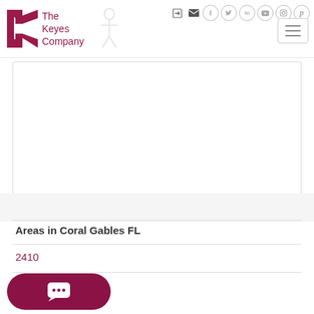The Keyes Company — navigation header with social icons and hamburger menu
[Figure (screenshot): Large white content card / image placeholder area]
Areas in Coral Gables FL
2410
41